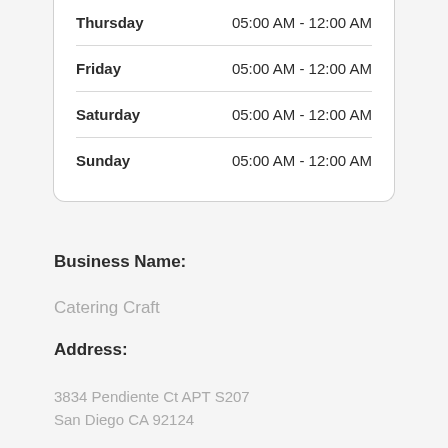| Day | Hours |
| --- | --- |
| Thursday | 05:00 AM - 12:00 AM |
| Friday | 05:00 AM - 12:00 AM |
| Saturday | 05:00 AM - 12:00 AM |
| Sunday | 05:00 AM - 12:00 AM |
Business Name:
Catering Craft
Address:
3834 Pendiente Ct APT S207
San Diego CA 92124